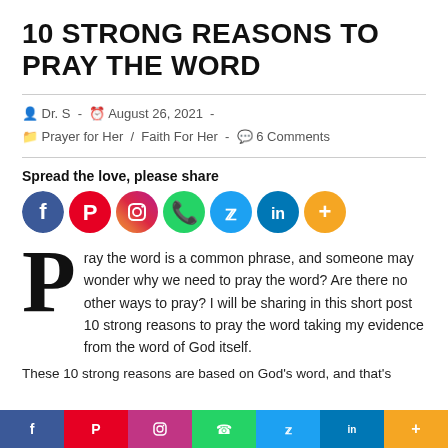10 STRONG REASONS TO PRAY THE WORD
Dr. S  -  August 26, 2021  -  Prayer for Her / Faith For Her  -  6 Comments
Spread the love, please share
[Figure (infographic): Social media share buttons: Facebook, Pinterest, Instagram, WhatsApp, Twitter, LinkedIn, More]
Pray the word is a common phrase, and someone may wonder why we need to pray the word? Are there no other ways to pray? I will be sharing in this short post 10 strong reasons to pray the word taking my evidence from the word of God itself.
These 10 strong reasons are based on God's word, and that's
[Figure (infographic): Bottom social share bar: Facebook, Pinterest, Instagram, WhatsApp, Twitter, LinkedIn, More]